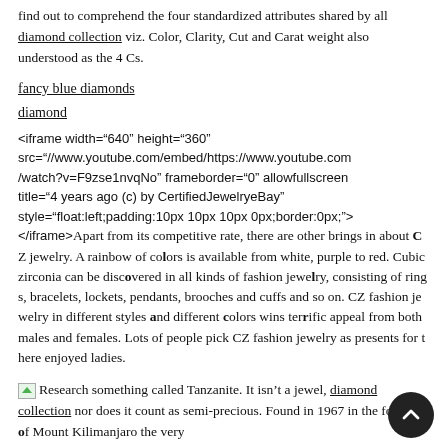find out to comprehend the four standardized attributes shared by all diamond collection viz. Color, Clarity, Cut and Carat weight also understood as the 4 Cs.
fancy blue diamonds
diamond
<iframe width="640" height="360" src="//www.youtube.com/embed/https://www.youtube.com/watch?v=F9zse1nvqNo" frameborder="0" allowfullscreen title="4 years ago (c) by CertifiedJewelryeBay" style="float:left;padding:10px 10px 10px 0px;border:0px;"> </iframe>Apart from its competitive rate, there are other brings in about CZ jewelry. A rainbow of colors is available from white, purple to red. Cubic zirconia can be discovered in all kinds of fashion jewelry, consisting of rings, bracelets, lockets, pendants, brooches and cuffs and so on. CZ fashion jewelry in different styles and different colors wins terrific appeal from both males and females. Lots of people pick CZ fashion jewelry as presents for there enjoyed ladies.
Research something called Tanzanite. It isn't a jewel, diamond collection nor does it count as semi-precious. Found in 1967 in the foothills of Mount Kilimanjaro the very best stones are vibrant violetish blue. Costing significantly less than affordable black diamonds the price is